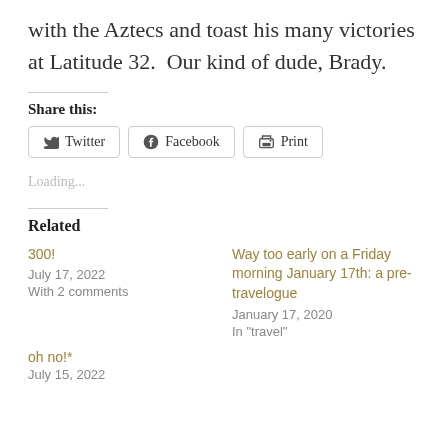with the Aztecs and toast his many victories at Latitude 32.  Our kind of dude, Brady.
Share this:
Twitter  Facebook  Print
Loading...
Related
300!
July 17, 2022
With 2 comments
Way too early on a Friday morning January 17th: a pre-travelogue
January 17, 2020
In "travel"
oh no!*
July 15, 2022